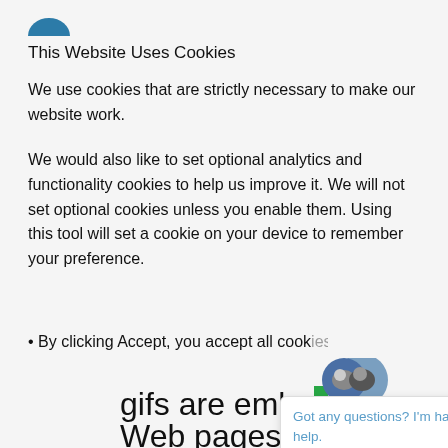[Figure (logo): Partial blue circular logo icon at top left]
This Website Uses Cookies
We use cookies that are strictly necessary to make our website work.
We would also like to set optional analytics and functionality cookies to help us improve it. We will not set optional cookies unless you enable them. Using this tool will set a cookie on your device to remember your preference.
• By clicking Accept, you accept all cook
gifs are embe
Web pages or in emails and
are about the size of the
period at the end of this
sentence. We use clear gifs or
[Figure (screenshot): Chat widget popup with avatar showing two people, message 'Got any questions? I'm happy to help.' with close button X, and a dark blue circular chat button in bottom right corner]